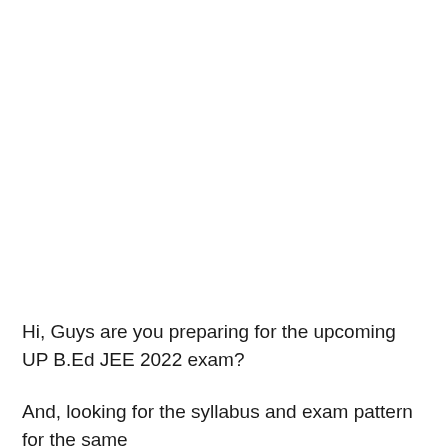Hi, Guys are you preparing for the upcoming UP B.Ed JEE 2022 exam?
And, looking for the syllabus and exam pattern for the same